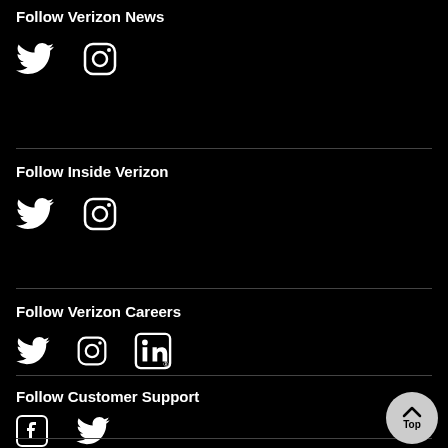Follow Verizon News
[Figure (illustration): Twitter bird icon and Instagram camera icon in white]
Follow Inside Verizon
[Figure (illustration): Twitter bird icon and Instagram camera icon in white]
Follow Verizon Careers
[Figure (illustration): Twitter bird icon, Instagram camera icon, and LinkedIn icon in white]
Follow Customer Support
[Figure (illustration): Facebook icon and Twitter bird icon in white]